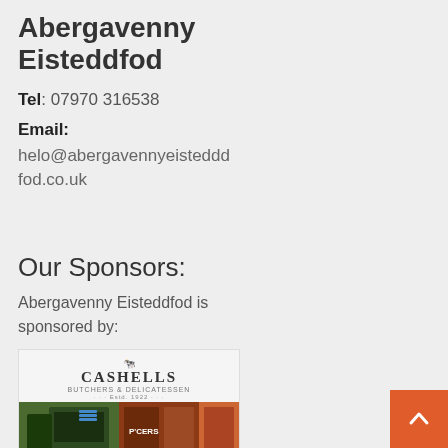Abergavenny Eisteddfod
Tel: 07970 316538
Email:
helo@abergavennyeisteddfod.co.uk
Our Sponsors:
Abergavenny Eisteddfod is sponsored by:
[Figure (photo): Cashells Butchers and Delicatessen sponsor logo and shop front photo]